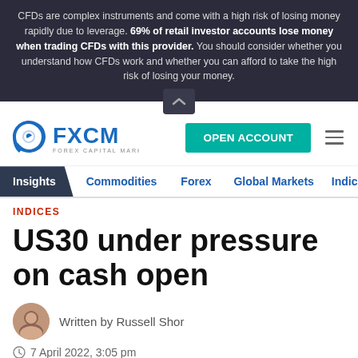CFDs are complex instruments and come with a high risk of losing money rapidly due to leverage. 69% of retail investor accounts lose money when trading CFDs with this provider. You should consider whether you understand how CFDs work and whether you can afford to take the high risk of losing your money.
[Figure (logo): FXCM Forex Capital Markets logo with blue swirl icon]
OPEN ACCOUNT
Insights | Commodities | Forex | Global Markets | Indice
INDICES
US30 under pressure on cash open
Written by Russell Shor
7 April 2022, 3:05 pm